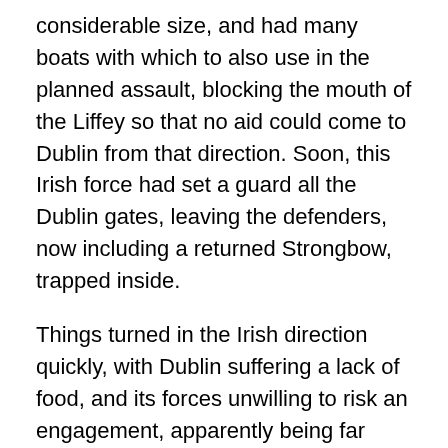considerable size, and had many boats with which to also use in the planned assault, blocking the mouth of the Liffey so that no aid could come to Dublin from that direction. Soon, this Irish force had set a guard all the Dublin gates, leaving the defenders, now including a returned Strongbow, trapped inside.
Things turned in the Irish direction quickly, with Dublin suffering a lack of food, and its forces unwilling to risk an engagement, apparently being far outnumbered. Strongbow requested negotiations, but they came to nought: an alleged suggestion that he could remain King of Leinster under Ruaidri's overlordship was denied.
At some point (the dates for these events are not very clear) Strongbow received word that a compatriot, Robert FitzStephen, was also under siege in a half constructed